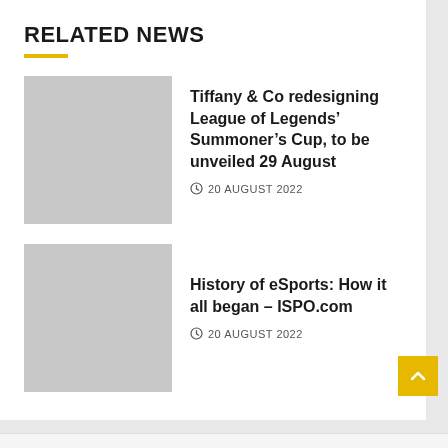RELATED NEWS
[Figure (photo): Placeholder gray image thumbnail for first news article]
Tiffany & Co redesigning League of Legends' Summoner's Cup, to be unveiled 29 August
20 AUGUST 2022
[Figure (photo): Placeholder gray image thumbnail for second news article]
History of eSports: How it all began – ISPO.com
20 AUGUST 2022